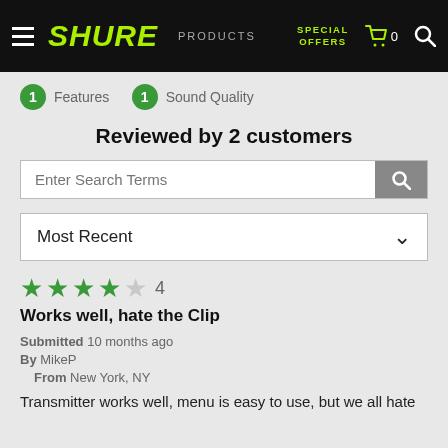SHURE | PRODUCTS | SPECIAL OFFERS | Cart 0 | Search
1 Features
1 Sound Quality
Reviewed by 2 customers
Enter Search Terms
Most Recent
4 stars - Works well, hate the Clip
Submitted 10 months ago
By MikeP
From New York, NY
Transmitter works well, menu is easy to use, but we all hate